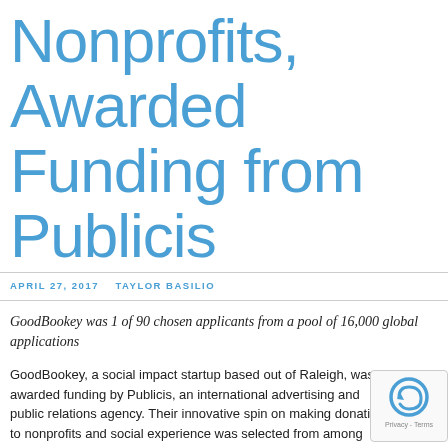Nonprofits, Awarded Funding from Publicis
APRIL 27, 2017   TAYLOR BASILIO
GoodBookey was 1 of 90 chosen applicants from a pool of 16,000 global applications
GoodBookey, a social impact startup based out of Raleigh, was awarded funding by Publicis, an international advertising and public relations agency. Their innovative spin on making donations to nonprofits and social experience was selected from among thousands of